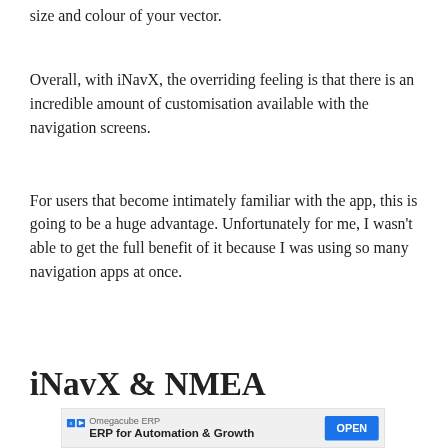size and colour of your vector.
Overall, with iNavX, the overriding feeling is that there is an incredible amount of customisation available with the navigation screens.
For users that become intimately familiar with the app, this is going to be a huge advantage. Unfortunately for me, I wasn't able to get the full benefit of it because I was using so many navigation apps at once.
iNavX & NMEA
[Figure (other): Advertisement banner for Omegacube ERP: 'FRP for Automation & Growth' with an OPEN button]